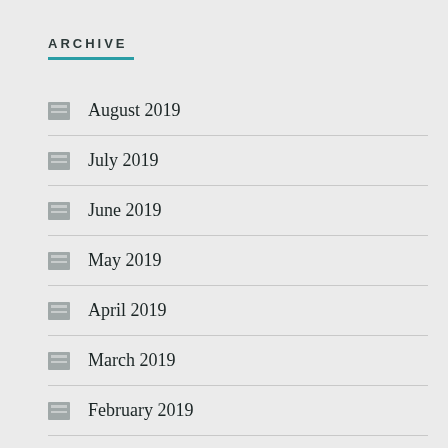ARCHIVE
August 2019
July 2019
June 2019
May 2019
April 2019
March 2019
February 2019
January 2019
December 2018